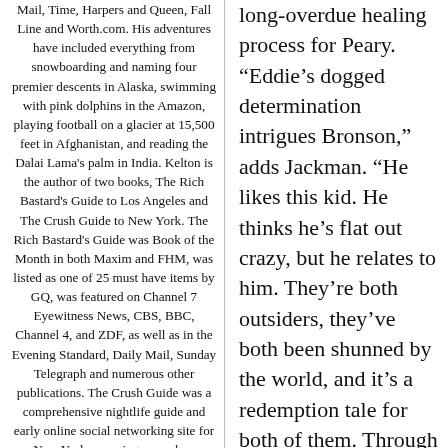Mail, Time, Harpers and Queen, Fall Line and Worth.com. His adventures have included everything from snowboarding and naming four premier descents in Alaska, swimming with pink dolphins in the Amazon, playing football on a glacier at 15,500 feet in Afghanistan, and reading the Dalai Lama's palm in India. Kelton is the author of two books, The Rich Bastard's Guide to Los Angeles and The Crush Guide to New York. The Rich Bastard's Guide was Book of the Month in both Maxim and FHM, was listed as one of 25 must have items by GQ, was featured on Channel 7 Eyewitness News, CBS, BBC, Channel 4, and ZDF, as well as in the Evening Standard, Daily Mail, Sunday Telegraph and numerous other publications. The Crush Guide was a comprehensive nightlife guide and early online social networking site for New York, covering every bar, restaurant and club in New
long-overdue healing process for Peary. “Eddie’s dogged determination intrigues Bronson,” adds Jackman. “He likes this kid. He thinks he’s flat out crazy, but he relates to him. They’re both outsiders, they’ve both been shunned by the world, and it’s a redemption tale for both of them. Through that growing friendship, Bronson